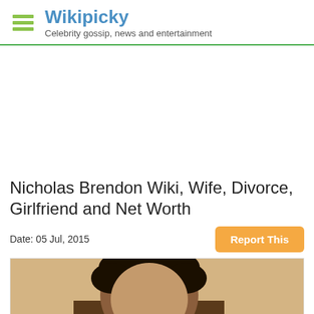Wikipicky — Celebrity gossip, news and entertainment
[Figure (other): Advertisement/blank area]
Nicholas Brendon Wiki, Wife, Divorce, Girlfriend and Net Worth
Date: 05 Jul, 2015
[Figure (photo): Photo of Nicholas Brendon, a dark-haired man]